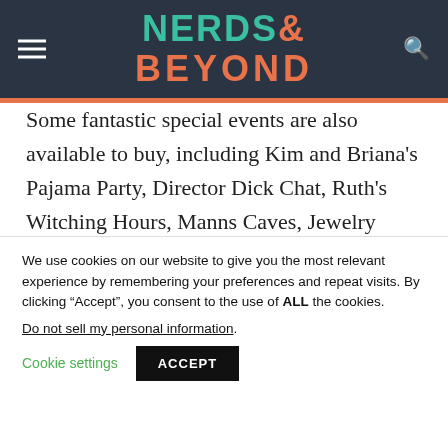NERDS& BEYOND
Some fantastic special events are also available to buy, including Kim and Briana's Pajama Party, Director Dick Chat, Ruth's Witching Hours, Manns Caves, Jewelry Making With Jodi, Makeup 101 with Victoria Righthand, and the Photography Q&A with Chris Schmelke.
We use cookies on our website to give you the most relevant experience by remembering your preferences and repeat visits. By clicking “Accept”, you consent to the use of ALL the cookies.
Do not sell my personal information.
Cookie settings   ACCEPT